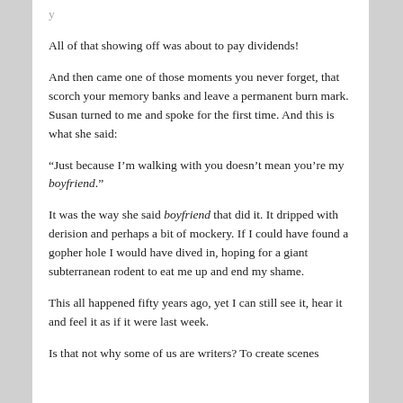All of that showing off was about to pay dividends!
And then came one of those moments you never forget, that scorch your memory banks and leave a permanent burn mark. Susan turned to me and spoke for the first time. And this is what she said:
“Just because I’m walking with you doesn’t mean you’re my boyfriend.”
It was the way she said boyfriend that did it. It dripped with derision and perhaps a bit of mockery. If I could have found a gopher hole I would have dived in, hoping for a giant subterranean rodent to eat me up and end my shame.
This all happened fifty years ago, yet I can still see it, hear it and feel it as if it were last week.
Is that not why some of us are writers? To create scenes